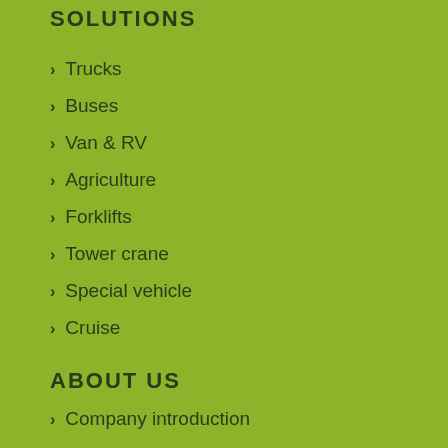SOLUTIONS
Trucks
Buses
Van & RV
Agriculture
Forklifts
Tower crane
Special vehicle
Cruise
ABOUT US
Company introduction
Core strengths
Development history
Organization